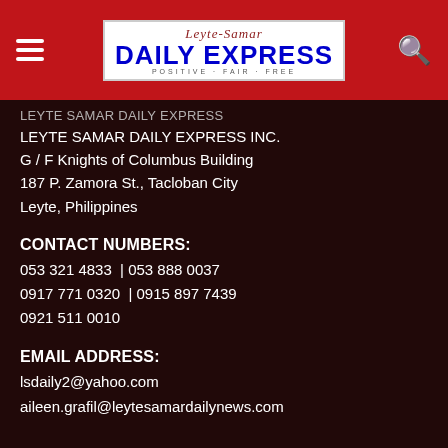Leyte-Samar DAILY EXPRESS · POSITIVE · FAIR · FREE
LEYTE SAMAR DAILY EXPRESS INC.
G / F Knights of Columbus Building
187 P. Zamora St., Tacloban City
Leyte, Philippines
CONTACT NUMBERS:
053 321 4833  | 053 888 0037
0917 771 0320  | 0915 897 7439
0921 511 0010
EMAIL ADDRESS:
lsdaily2@yahoo.com
aileen.grafil@leytesamardailynews.com